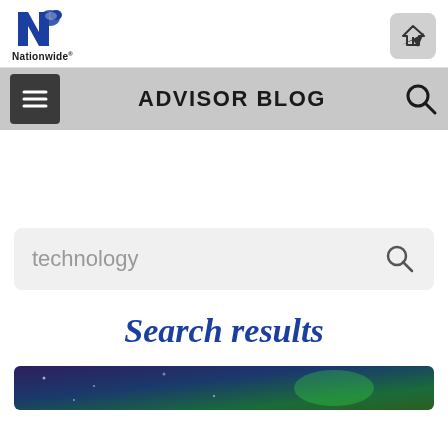[Figure (logo): Nationwide insurance logo — blue eagle/N icon with 'Nationwide' text below]
ADVISOR BLOG
technology
Search results
[Figure (photo): Partial image at bottom of page — dark purple/blue/green background, appears to be a technology-related image]